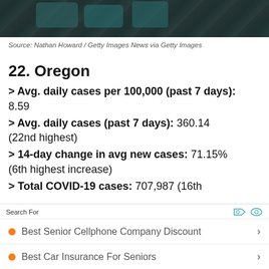[Figure (photo): Dark photo of medical/COVID-related items (gloves or similar), cropped at top]
Source: Nathan Howard / Getty Images News via Getty Images
22. Oregon
> Avg. daily cases per 100,000 (past 7 days): 8.59
> Avg. daily cases (past 7 days): 360.14 (22nd highest)
> 14-day change in avg new cases: 71.15% (6th highest increase)
> Total COVID-19 cases: 707,987 (16th highest)
Search For
Best Senior Cellphone Company Discount
Best Car Insurance For Seniors